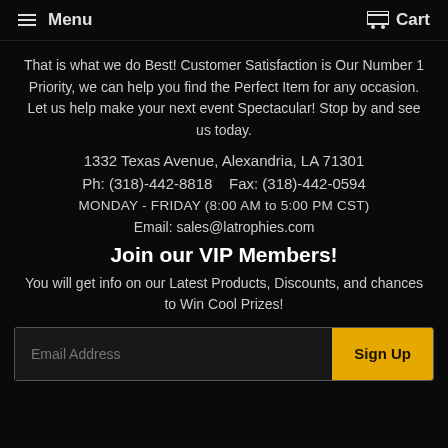Menu  Cart
That is what we do Best! Customer Satisfaction is Our Number 1 Priority, we can help you find the Perfect Item for any occasion. Let us help make your next event Spectacular! Stop by and see us today.
1332 Texas Avenue, Alexandria, LA 71301
Ph: (318)-442-8818   Fax: (318)-442-0594
MONDAY - FRIDAY (8:00 AM to 5:00 PM CST)
Email: sales@latrophies.com
Join our VIP Members!
You will get info on our Latest Products, Discounts, and chances to Win Cool Prizes!